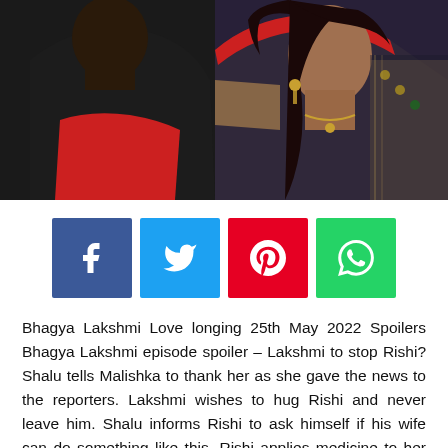[Figure (photo): Two people facing each other: a man in a black and red jacket with his back to camera on the left, and a woman in a traditional Indian saree with jewelry looking toward camera on the right, against a blurred background.]
[Figure (infographic): Social sharing buttons: Facebook (blue), Twitter (light blue), Pinterest (red), WhatsApp (green)]
Bhagya Lakshmi Love longing 25th May 2022 Spoilers Bhagya Lakshmi episode spoiler – Lakshmi to stop Rishi? Shalu tells Malishka to thank her as she gave the news to the reporters. Lakshmi wishes to hug Rishi and never leave him. Shalu informs Rishi to ask himself if his wife can do something like this. Rishi applies medicine to her hands. Shalu motivates Lakshmi to express her feelings to Rishi so that he breaks his engagement with Malishka.